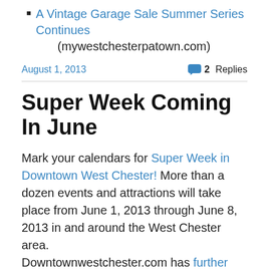A Vintage Garage Sale Summer Series Continues (mywestchesterpatown.com)
August 1, 2013   2 Replies
Super Week Coming In June
Mark your calendars for Super Week in Downtown West Chester! More than a dozen events and attractions will take place from June 1, 2013 through June 8, 2013 in and around the West Chester area. Downtownwestchester.com has further information on the entire week including a schedule of events, which include:
[Figure (other): Broken image placeholder]